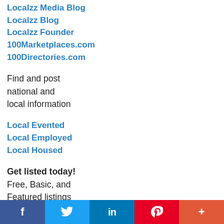Localzz Media Blog
Localzz Blog
Localzz Founder
100Marketplaces.com
100Directories.com
Find and post national and local information
Local Evented
Local Employed
Local Housed
Get listed today!
Free, Basic, and Featured listings
f  [Twitter bird]  in  P  +